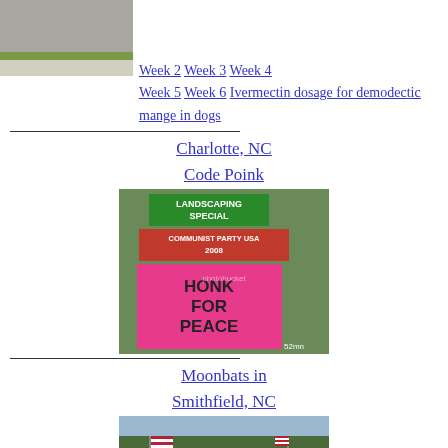[Figure (photo): Person walking on sidewalk, feet and lower body visible]
Week 2 Week 3 Week 4 Week 5 Week 6 Ivermectin dosage for demodectic mange in dogs
Charlotte, NC
Code Poink
[Figure (photo): Protest scene with signs including 'LANDSCAPING SPECIAL', 'COMMUNIST PARTY USA 2008', and a pink 'HONK FOR PEACE' sign]
Moonbats in Smithfield, NC
[Figure (photo): Roadside protest with American flags and signs including 'MOONBATS SHUT UP GO HOME']